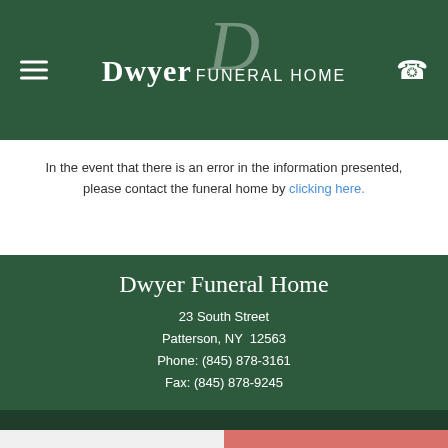Dwyer Funeral Home
In the event that there is an error in the information presented, please contact the funeral home by clicking here.
Dwyer Funeral Home
23 South Street
Patterson, NY 12563
Phone: (845) 878-3161
Fax: (845) 878-9245
Share a memory | Send Flowers